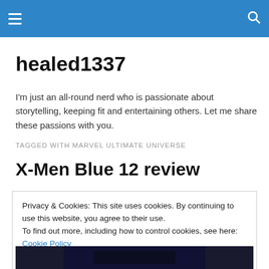healed1337 [hamburger menu and search icon]
healed1337
I'm just an all-round nerd who is passionate about storytelling, keeping fit and entertaining others. Let me share these passions with you.
TAGGED WITH MARVEL ULTIMATE UNIVERSE
X-Men Blue 12 review
Privacy & Cookies: This site uses cookies. By continuing to use this website, you agree to their use.
To find out more, including how to control cookies, see here: Cookie Policy
Close and accept
[Figure (photo): Bottom strip showing a dark photo, partial view]